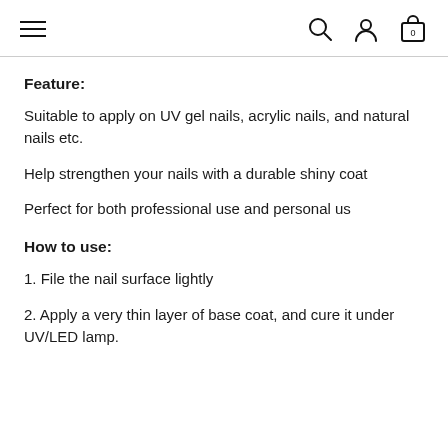Navigation bar with hamburger menu, search, account, and cart icons
Feature:
Suitable to apply on UV gel nails, acrylic nails, and natural nails etc.
Help strengthen your nails with a durable shiny coat
Perfect for both professional use and personal us
How to use:
1. File the nail surface lightly
2. Apply a very thin layer of base coat, and cure it under UV/LED lamp.